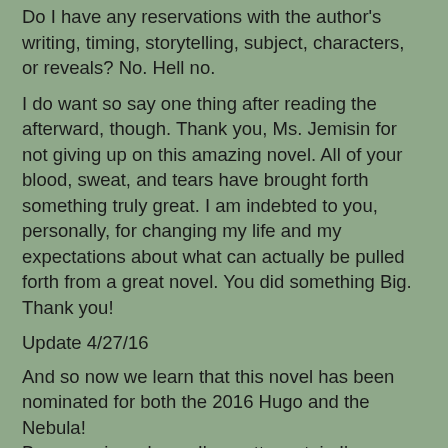Do I have any reservations with the author's writing, timing, storytelling, subject, characters, or reveals? No. Hell no.
I do want so say one thing after reading the afterward, though. Thank you, Ms. Jemisin for not giving up on this amazing novel. All of your blood, sweat, and tears have brought forth something truly great. I am indebted to you, personally, for changing my life and my expectations about what can actually be pulled forth from a great novel. You did something Big. Thank you!
Update 4/27/16
And so now we learn that this novel has been nominated for both the 2016 Hugo and the Nebula!
By my review above, I'm pretty certain I've expressed how much I love this book, and that has not changed one bit. If I was in a position to scream from my soapbox to say to the Nebulas that this is the clear winner, I would. As it *is*, I CAN scream from my soapbox to the Hugos and say it. :)